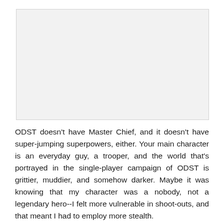[Figure (photo): A blank/placeholder light gray image area at the top of the page.]
ODST doesn't have Master Chief, and it doesn't have super-jumping superpowers, either. Your main character is an everyday guy, a trooper, and the world that's portrayed in the single-player campaign of ODST is grittier, muddier, and somehow darker. Maybe it was knowing that my character was a nobody, not a legendary hero--I felt more vulnerable in shoot-outs, and that meant I had to employ more stealth.